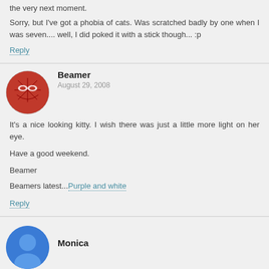the very next moment.
Sorry, but I've got a phobia of cats. Was scratched badly by one when I was seven.... well, I did poked it with a stick though... :p
Reply
Beamer
August 29, 2008
It's a nice looking kitty. I wish there was just a little more light on her eye.
Have a good weekend.
Beamer
Beamers latest...Purple and white
Reply
Monica